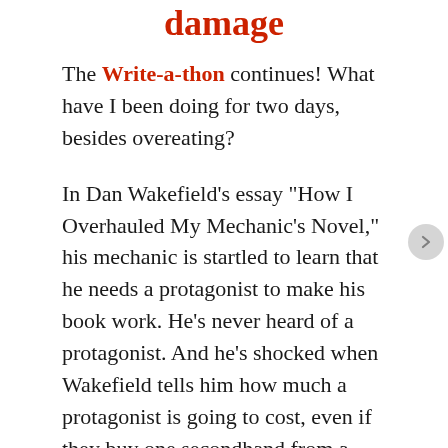damage
The Write-a-thon continues! What have I been doing for two days, besides overeating?
In Dan Wakefield’s essay “How I Overhauled My Mechanic’s Novel,” his mechanic is startled to learn that he needs a protagonist to make his book work. He’s never heard of a protagonist. And he’s shocked when Wakefield tells him how much a protagonist is going to cost, even if they buy one secondhand from a book that was remaindered.
Fortunately for me, I know how to build my own protagonist. My question is what kind